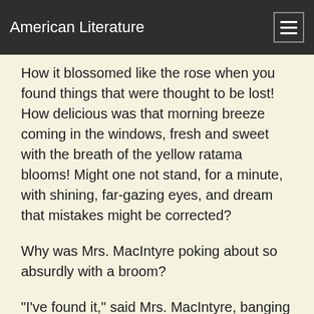American Literature
How it blossomed like the rose when you found things that were thought to be lost! How delicious was that morning breeze coming in the windows, fresh and sweet with the breath of the yellow ratama blooms! Might one not stand, for a minute, with shining, far-gazing eyes, and dream that mistakes might be corrected?
Why was Mrs. MacIntyre poking about so absurdly with a broom?
"I've found it," said Mrs. MacIntyre, banging the door. "Here it is."
"Did you lose something? asked Octavia, with